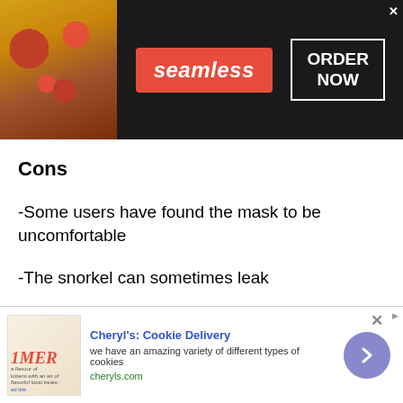[Figure (screenshot): Seamless food delivery advertisement banner with pizza image on left, red Seamless logo in center, ORDER NOW button on right, dark background]
Cons
-Some users have found the mask to be uncomfortable
-The snorkel can sometimes leak
ZEEPORTE Mask Fin Snorkel Set
[Figure (screenshot): Cheryl's Cookie Delivery advertisement banner with cookie image on left, blue title text, description text, cheryls.com URL, and blue circular arrow button on right]